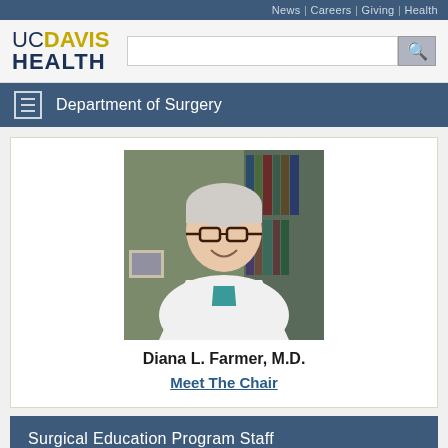News | Careers | Giving | Health
[Figure (logo): UC Davis Health logo with golden UC and dark blue DAVIS HEALTH text]
Department of Surgery
[Figure (photo): Portrait photo of Diana L. Farmer, M.D. — woman in white lab coat with pearl necklace, glasses, smiling, bookshelves in background]
Diana L. Farmer, M.D.
Meet The Chair
Surgical Education Program Staff
Other education links